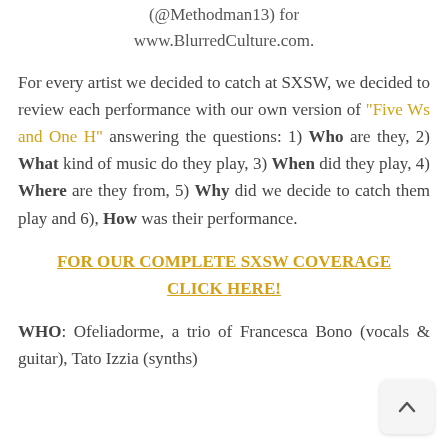(@Methodman13) for www.BlurredCulture.com.
For every artist we decided to catch at SXSW, we decided to review each performance with our own version of "Five Ws and One H" answering the questions: 1) Who are they, 2) What kind of music do they play, 3) When did they play, 4) Where are they from, 5) Why did we decide to catch them play and 6), How was their performance.
FOR OUR COMPLETE SXSW COVERAGE CLICK HERE!
WHO: Ofeliadorme, a trio of Francesca Bono (vocals & guitar), Tato Izzia (synths)